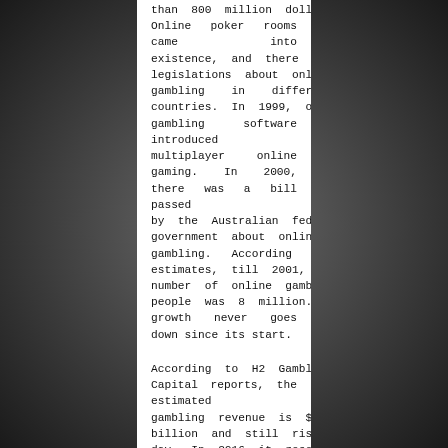than 800 million dollars. Online poker rooms came into existence, and there were legislations about online gambling in different countries. In 1999, online gambling software introduced multiplayer online gaming. In 2000, there was a bill passed by the Australian federal government about online gambling. According to estimates, till 2001, the number of online gambling people was 8 million. Its growth never goes down since its start.
According to H2 Gambling Capital reports, the estimated gambling revenue is $21 billion and still rising day by day. In 2016 it rose to 45